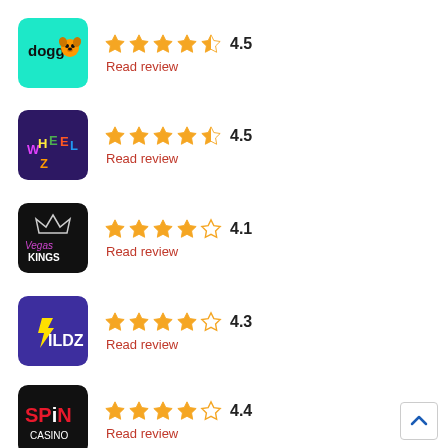[Figure (logo): Doggo casino logo - teal background with doggo text and dog icon]
4.5 Read review
[Figure (logo): Wheelz casino logo - dark purple background with colorful Wheelz text]
4.5 Read review
[Figure (logo): Vegas Kings casino logo - black background with crown and VegasKings text]
4.1 Read review
[Figure (logo): Wildz casino logo - purple background with yellow Wildz lightning text]
4.3 Read review
[Figure (logo): Spin Casino logo - black background with red SPIN CASINO text]
4.4 Read review